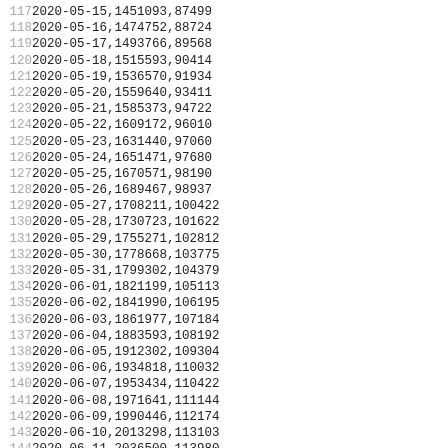| line | data |
| --- | --- |
| 117 | 2020-05-15,1451093,87499 |
| 118 | 2020-05-16,1474752,88724 |
| 119 | 2020-05-17,1493766,89568 |
| 120 | 2020-05-18,1515593,90414 |
| 121 | 2020-05-19,1536570,91934 |
| 122 | 2020-05-20,1559640,93411 |
| 123 | 2020-05-21,1585373,94722 |
| 124 | 2020-05-22,1609172,96010 |
| 125 | 2020-05-23,1631440,97060 |
| 126 | 2020-05-24,1651471,97680 |
| 127 | 2020-05-25,1670571,98190 |
| 128 | 2020-05-26,1689467,98937 |
| 129 | 2020-05-27,1708211,100422 |
| 130 | 2020-05-28,1730723,101622 |
| 131 | 2020-05-29,1755271,102812 |
| 132 | 2020-05-30,1778668,103775 |
| 133 | 2020-05-31,1799302,104379 |
| 134 | 2020-06-01,1821199,105113 |
| 135 | 2020-06-02,1841990,106195 |
| 136 | 2020-06-03,1861977,107184 |
| 137 | 2020-06-04,1883593,108192 |
| 138 | 2020-06-05,1912302,109304 |
| 139 | 2020-06-06,1934818,110032 |
| 140 | 2020-06-07,1953434,110422 |
| 141 | 2020-06-08,1971641,111144 |
| 142 | 2020-06-09,1990446,112174 |
| 143 | 2020-06-10,2013298,113103 |
| 144 | 2020-06-11,2036500,113980 |
| 145 | 2020-06-12,2061993,114759 |
| 146 | 2020-06-13,2087327,115451 |
| 147 | 2020-06-14,2106457,115768 |
| 148 | 2020-06-15,2126574,116216 |
| 149 | 2020-06-16,2151459,116985 |